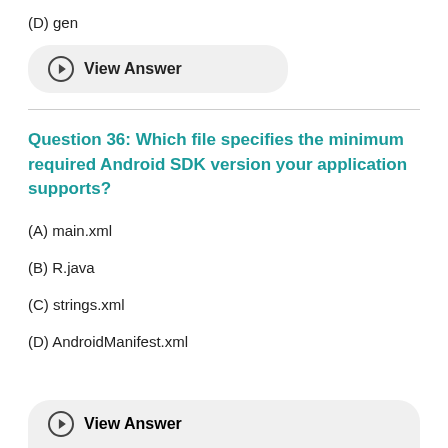(D) gen
View Answer
Question 36: Which file specifies the minimum required Android SDK version your application supports?
(A) main.xml
(B) R.java
(C) strings.xml
(D) AndroidManifest.xml
View Answer